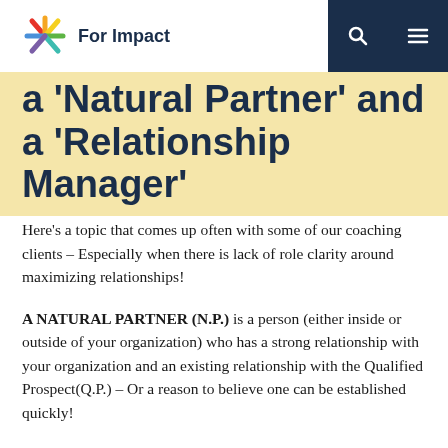For Impact
a 'Natural Partner' and a 'Relationship Manager'
Here's a topic that comes up often with some of our coaching clients – Especially when there is lack of role clarity around maximizing relationships!
A NATURAL PARTNER (N.P.) is a person (either inside or outside of your organization) who has a strong relationship with your organization and an existing relationship with the Qualified Prospect(Q.P.) – Or a reason to believe one can be established quickly!
Externally, Natural Partners can be on your Board, they can have a business relationship with the